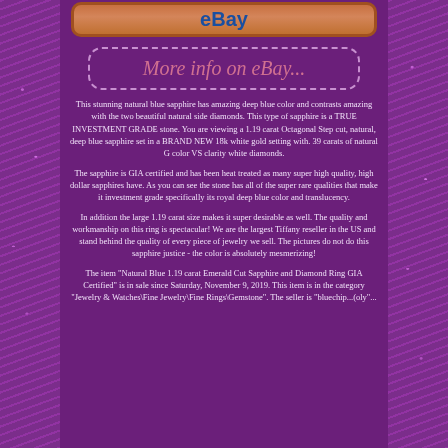[Figure (screenshot): eBay button/logo in orange rounded rectangle frame at top]
[Figure (other): More info on eBay... dashed border button]
This stunning natural blue sapphire has amazing deep blue color and contrasts amazing with the two beautiful natural side diamonds. This type of sapphire is a TRUE INVESTMENT GRADE stone. You are viewing a 1.19 carat Octagonal Step cut, natural, deep blue sapphire set in a BRAND NEW 18k white gold setting with. 39 carats of natural G color VS clarity white diamonds.
The sapphire is GIA certified and has been heat treated as many super high quality, high dollar sapphires have. As you can see the stone has all of the super rare qualities that make it investment grade specifically its royal deep blue color and translucency.
In addition the large 1.19 carat size makes it super desirable as well. The quality and workmanship on this ring is spectacular! We are the largest Tiffany reseller in the US and stand behind the quality of every piece of jewelry we sell. The pictures do not do this sapphire justice - the color is absolutely mesmerizing!
The item "Natural Blue 1.19 carat Emerald Cut Sapphire and Diamond Ring GIA Certified" is in sale since Saturday, November 9, 2019. This item is in the category "Jewelry & Watches\Fine Jewelry\Fine Rings\Gemstone". The seller is "bluechip...(oly"...